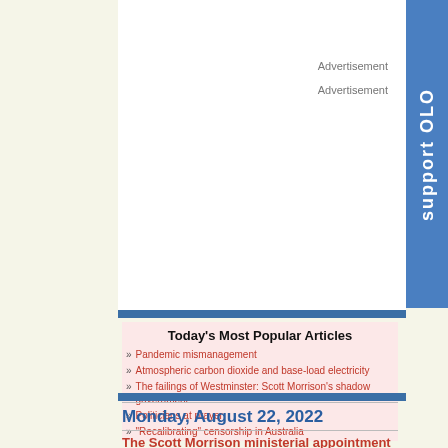Advertisement
Advertisement
[Figure (other): Support OLO sidebar banner in blue]
Today's Most Popular Articles
Pandemic mismanagement
Atmospheric carbon dioxide and base-load electricity
The failings of Westminster: Scott Morrison's shadow government
Politicians at prayer
“Recalibrating” censorship in Australia
Monday, August 22, 2022
The Scott Morrison ministerial appointments...